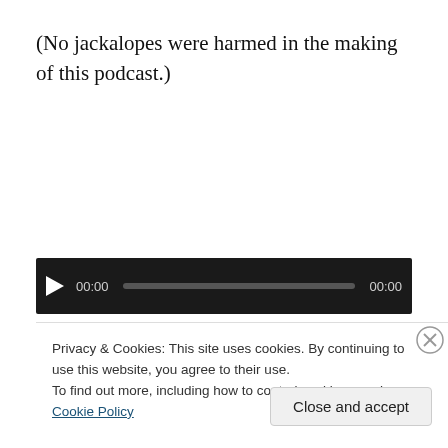(No jackalopes were harmed in the making of this podcast.)
[Figure (other): Audio player widget with dark background, play button triangle, time display 00:00, progress bar, and end time 00:00]
Privacy & Cookies: This site uses cookies. By continuing to use this website, you agree to their use.
To find out more, including how to control cookies, see here: Cookie Policy
Close and accept